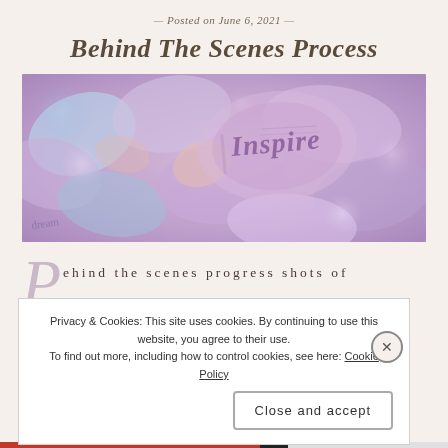Posted on June 6, 2021
Behind The Scenes Process
[Figure (photo): A colorful abstract photo of layered painted papers or petals with the word 'Inspire' visible in purple/pink tones, with bokeh light effects]
Behind the scenes progress shots of
Privacy & Cookies: This site uses cookies. By continuing to use this website, you agree to their use. To find out more, including how to control cookies, see here: Cookie Policy
Close and accept